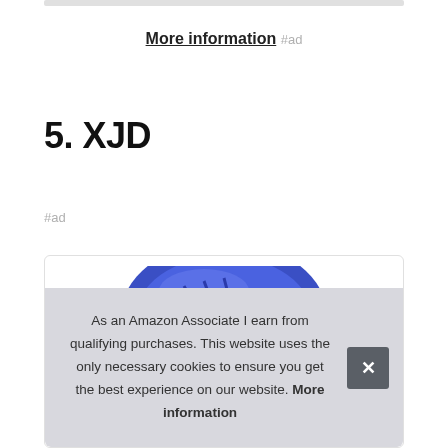More information #ad
5. XJD
#ad
[Figure (photo): Blue XJD helmet product photo partially visible inside a rounded-corner product card]
As an Amazon Associate I earn from qualifying purchases. This website uses the only necessary cookies to ensure you get the best experience on our website. More information